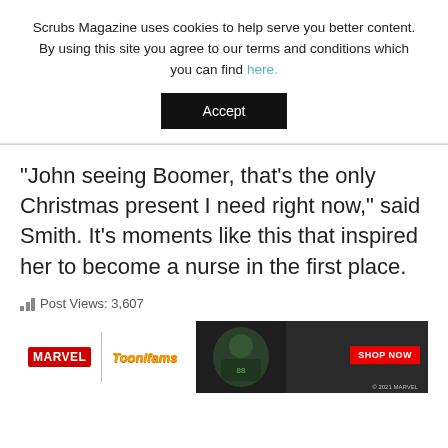Scrubs Magazine uses cookies to help serve you better content. By using this site you agree to our terms and conditions which you can find here.
Accept
“John seeing Boomer, that’s the only Christmas present I need right now,” said Smith. It’s moments like this that inspired her to become a nurse in the first place.
Post Views: 3,607
[Figure (screenshot): Advertisement banner for Marvel Toonifams showing a character jacket with MARVEL logo, Toonifams logo, and SHOP NOW button in red]